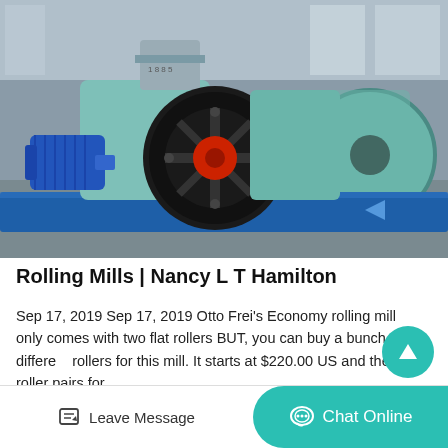[Figure (photo): Industrial rolling mill machine in a factory setting, painted blue at the base with teal/gray rollers and a blue electric motor on the left. Large black flywheel visible in the center with a red hub.]
Rolling Mills | Nancy L T Hamilton
Sep 17, 2019 Sep 17, 2019 Otto Frei’s Economy rolling mill only comes with two flat rollers BUT, you can buy a bunch of different rollers for this mill. It starts at $220.00 US and the roller pairs for…
Leave Message
Chat Online